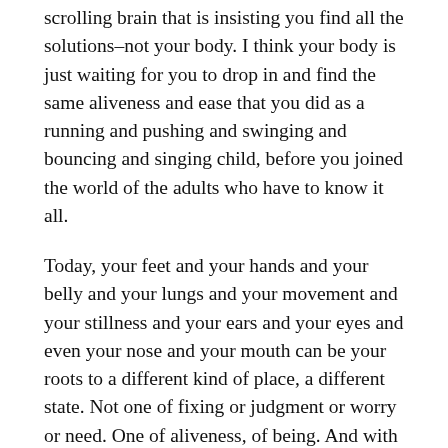scrolling brain that is insisting you find all the solutions–not your body. I think your body is just waiting for you to drop in and find the same aliveness and ease that you did as a running and pushing and swinging and bouncing and singing child, before you joined the world of the adults who have to know it all.
Today, your feet and your hands and your belly and your lungs and your movement and your stillness and your ears and your eyes and even your nose and your mouth can be your roots to a different kind of place, a different state. Not one of fixing or judgment or worry or need. One of aliveness, of being. And with those roots you may find some rest and peace.